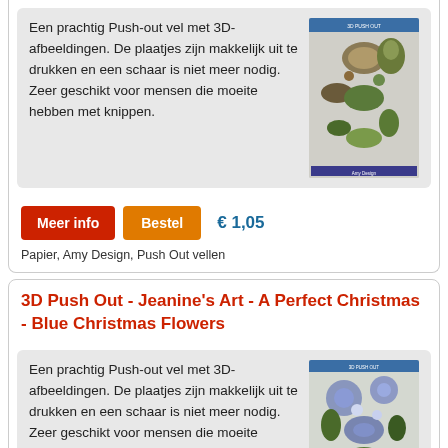Een prachtig Push-out vel met 3D-afbeeldingen. De plaatjes zijn makkelijk uit te drukken en een schaar is niet meer nodig. Zeer geschikt voor mensen die moeite hebben met knippen.
[Figure (photo): Product image of a Push-out sheet with 3D animal illustrations (hedgehogs, squirrels, forest animals)]
Meer info   Bestel   € 1,05
Papier, Amy Design, Push Out vellen
3D Push Out - Jeanine's Art - A Perfect Christmas - Blue Christmas Flowers
Een prachtig Push-out vel met 3D-afbeeldingen. De plaatjes zijn makkelijk uit te drukken en een schaar is niet meer nodig. Zeer geschikt voor mensen die moeite
[Figure (photo): Product image of a Push-out sheet with 3D blue Christmas flower illustrations]